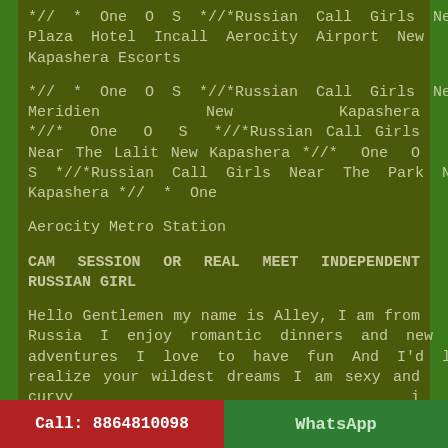*//* One O S *//*Russian Call Girls Near Pride Plaza Hotel Incall Aerocity Airport New Kapashera Escorts
*//* One O S *//*Russian Call Girls Near Le Meridien New Kapashera *//* One O S *//*Russian Call Girls Near The Lalit New Kapashera *///* One O S *//*Russian Call Girls Near The Park New Kapashera *///* One
Aerocity Metro Station
CAM SESSION OR REAL MEET INDEPENDENT RUSSIAN GIRL
Hello Gentlemen my name is Alley, I am from Russia I enjoy romantic dinners and new adventures I love to have fun And I'd love to realize your wildest dreams I am sexy and curvy i am classy and funny open minded girl available for real meet and
Call: 8864810098   WhatsApp